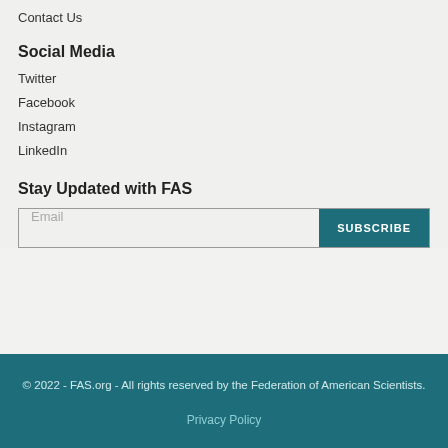Contact Us
Social Media
Twitter
Facebook
Instagram
LinkedIn
Stay Updated with FAS
Email [input field] SUBSCRIBE [button]
© 2022 - FAS.org - All rights reserved by the Federation of American Scientists.
Privacy Policy